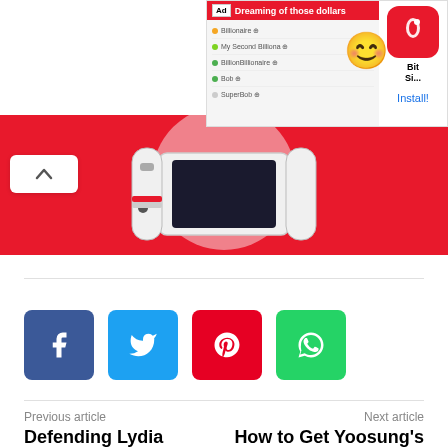[Figure (screenshot): Advertisement overlay in top-right showing BitLife app ad with 'Dreaming of those dollars' header in red, leaderboard content with emoji, BitLife app icon, and Install! link]
[Figure (photo): Pink/red banner showing a Nintendo Switch gaming console with white Joy-Cons against a circular background]
[Figure (screenshot): Scroll-up button (caret/chevron up icon) on left side]
[Figure (infographic): Social sharing buttons: Facebook (blue), Twitter (light blue), Pinterest (red), WhatsApp (green)]
Previous article
Defending Lydia Collier Walkthrough
Next article
How to Get Yoosung's Route Mystic Messenger | Days 0-4